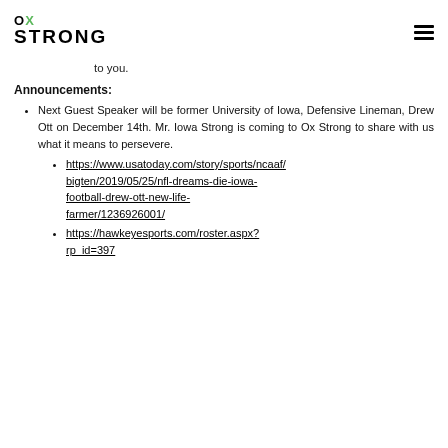Ox Strong
to you.
Announcements:
Next Guest Speaker will be former University of Iowa, Defensive Lineman, Drew Ott on December 14th. Mr. Iowa Strong is coming to Ox Strong to share with us what it means to persevere.
https://www.usatoday.com/story/sports/ncaaf/bigten/2019/05/25/nfl-dreams-die-iowa-football-drew-ott-new-life-farmer/1236926001/
https://hawkeyesports.com/roster.aspx?rp_id=397